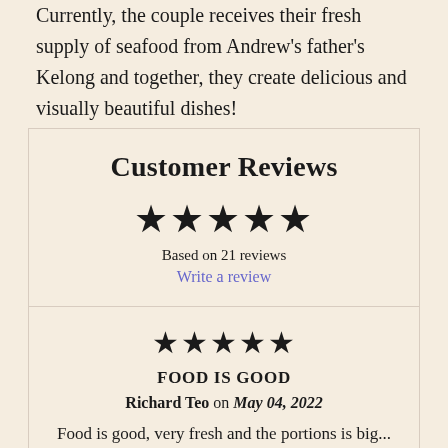Currently, the couple receives their fresh supply of seafood from Andrew's father's Kelong and together, they create delicious and visually beautiful dishes!
Customer Reviews
★★★★★
Based on 21 reviews
Write a review
★★★★★
FOOD IS GOOD
Richard Teo on May 04, 2022
Food is good, very fresh and the portions is big...